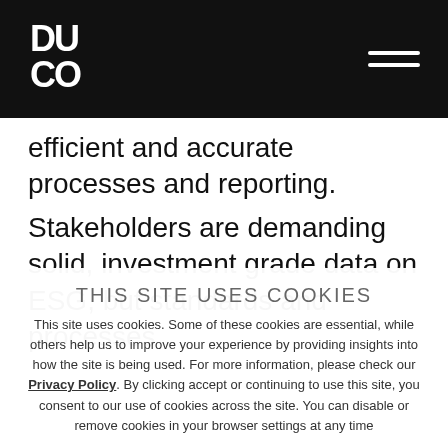DUCO logo and navigation header
efficient and accurate processes and reporting.
Stakeholders are demanding solid, investment grade data on ESG, but standards and processes
THIS SITE USES COOKIES
This site uses cookies. Some of these cookies are essential, while others help us to improve your experience by providing insights into how the site is being used. For more information, please check our Privacy Policy. By clicking accept or continuing to use this site, you consent to our use of cookies across the site. You can disable or remove cookies in your browser settings at any time
ACCEPT & CONTINUE